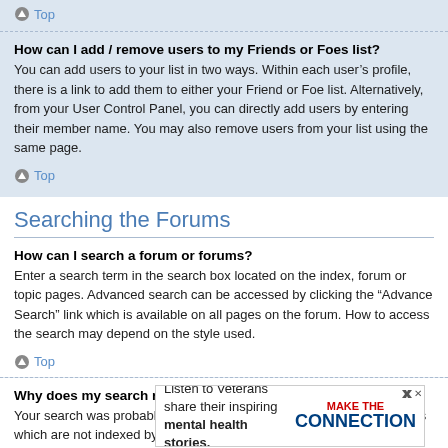Top
How can I add / remove users to my Friends or Foes list?
You can add users to your list in two ways. Within each user's profile, there is a link to add them to either your Friend or Foe list. Alternatively, from your User Control Panel, you can directly add users by entering their member name. You may also remove users from your list using the same page.
Top
Searching the Forums
How can I search a forum or forums?
Enter a search term in the search box located on the index, forum or topic pages. Advanced search can be accessed by clicking the "Advance Search" link which is available on all pages on the forum. How to access the search may depend on the style used.
Top
Why does my search return no results?
Your search was probably too vague and included many common terms which are not indexed by phpBB. Be more specific and use the options available within Advanced
Top
[Figure (other): Advertisement banner: Listen to Veterans share their inspiring mental health stories. Make the Connection.]